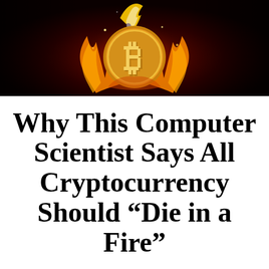[Figure (photo): A glowing Bitcoin coin engulfed in dramatic orange and yellow flames against a dark red-black background]
Why This Computer Scientist Says All Cryptocurrency Should “Die in a Fire”